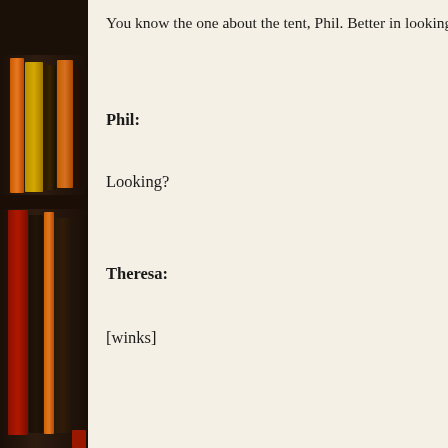[Figure (photo): Bookshelf with books of various colors including orange, yellow, red and dark spines arranged vertically on dark wooden shelves]
You know the one about the tent, Phil. Better in looking out
Phil:
Looking?
Theresa:
[winks]